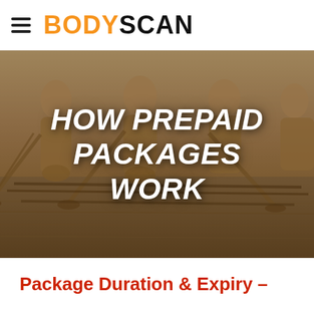BODYSCAN
[Figure (photo): Hero banner image showing rowers on water with oars, muted warm tones, with bold white italic text overlay reading 'HOW PREPAID PACKAGES WORK']
HOW PREPAID PACKAGES WORK
Package Duration & Expiry –